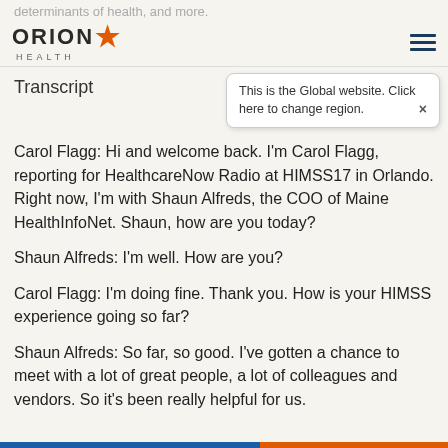determinants of health, and more.
[Figure (logo): Orion Health logo with orange star and 'HEALTH' subtext, plus hamburger menu icon]
Transcript
This is the Global website. Click here to change region.
Carol Flagg: Hi and welcome back. I'm Carol Flagg, reporting for HealthcareNow Radio at HIMSS17 in Orlando. Right now, I'm with Shaun Alfreds, the COO of Maine HealthInfoNet. Shaun, how are you today?
Shaun Alfreds: I'm well. How are you?
Carol Flagg: I'm doing fine. Thank you. How is your HIMSS experience going so far?
Shaun Alfreds: So far, so good. I've gotten a chance to meet with a lot of great people, a lot of colleagues and vendors. So it's been really helpful for us.